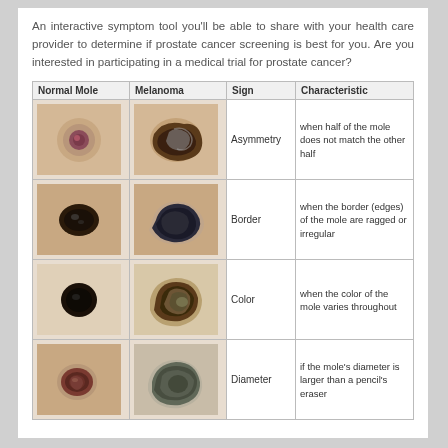An interactive symptom tool you'll be able to share with your health care provider to determine if prostate cancer screening is best for you. Are you interested in participating in a medical trial for prostate cancer?
| Normal Mole | Melanoma | Sign | Characteristic |
| --- | --- | --- | --- |
| [image: normal mole] | [image: melanoma asymmetry] | Asymmetry | when half of the mole does not match the other half |
| [image: normal mole border] | [image: melanoma border] | Border | when the border (edges) of the mole are ragged or irregular |
| [image: normal mole color] | [image: melanoma color] | Color | when the color of the mole varies throughout |
| [image: normal mole diameter] | [image: melanoma diameter] | Diameter | if the mole's diameter is larger than a pencil's eraser |